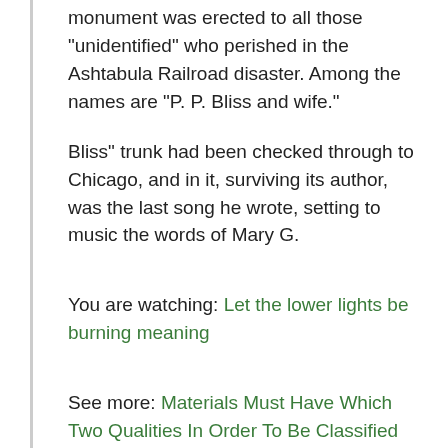monument was erected to all those "unidentified" who perished in the Ashtabula Railroad disaster. Among the names are "P. P. Bliss and wife."
Bliss" trunk had been checked through to Chicago, and in it, surviving its author, was the last song he wrote, setting to music the words of Mary G.
You are watching: Let the lower lights be burning meaning
See more: Materials Must Have Which Two Qualities In Order To Be Classified